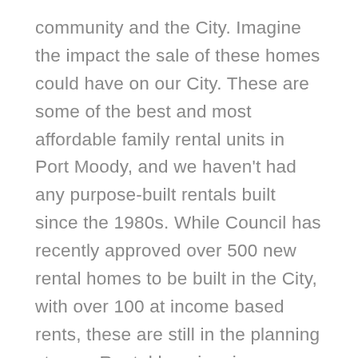community and the City. Imagine the impact the sale of these homes could have on our City. These are some of the best and most affordable family rental units in Port Moody, and we haven't had any purpose-built rentals built since the 1980s. While Council has recently approved over 500 new rental homes to be built in the City, with over 100 at income based rents, these are still in the planning stages. Rental housing, in particular, was identified as a need throughout the Metro Vancouver region and in Port Moody specifically.
But I digress – Woodland Park Townhomes. Some of us have feared for some time that this property would at some point come under pressure to